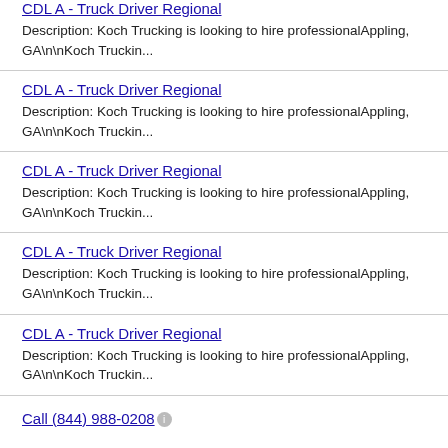CDL A - Truck Driver Regional
Description: Koch Trucking is looking to hire professionalAppling, GA\n\nKoch Truckin...
CDL A - Truck Driver Regional
Description: Koch Trucking is looking to hire professionalAppling, GA\n\nKoch Truckin...
CDL A - Truck Driver Regional
Description: Koch Trucking is looking to hire professionalAppling, GA\n\nKoch Truckin...
CDL A - Truck Driver Regional
Description: Koch Trucking is looking to hire professionalAppling, GA\n\nKoch Truckin...
CDL A - Truck Driver Regional
Description: Koch Trucking is looking to hire professionalAppling, GA\n\nKoch Truckin...
Call (844) 988-0208